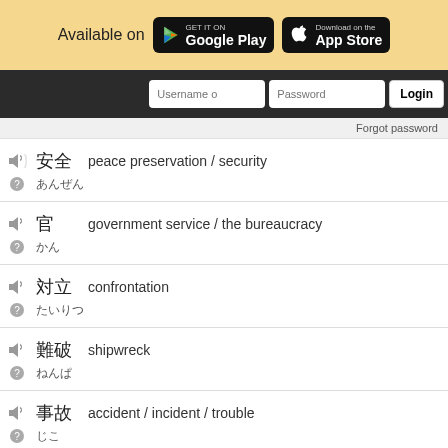[Figure (screenshot): App store download banner with Google Play and App Store buttons on yellow background]
[Figure (screenshot): Login bar with Username and Password fields and Login button on dark background]
Forgot password
peace preservation / security
government service / the bureaucracy
confrontation
shipwreck
accident / incident / trouble
actual spot / scene / scene of the crime